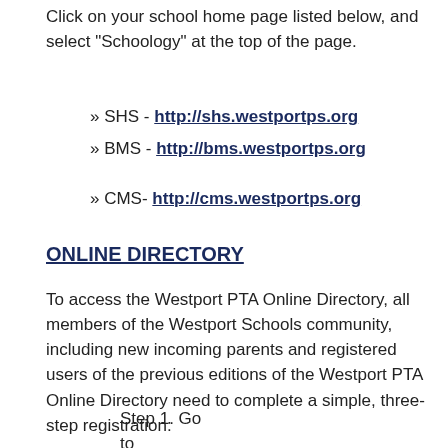Click on your school home page listed below, and select "Schoology" at the top of the page.
» SHS - http://shs.westportps.org
» BMS - http://bms.westportps.org
» CMS- http://cms.westportps.org
ONLINE DIRECTORY
To access the Westport PTA Online Directory, all members of the Westport Schools community, including new incoming parents and registered users of the previous editions of the Westport PTA Online Directory need to complete a simple, three-step registration:
Step 1. Go to https://westport.mobilearq.com/school_direc